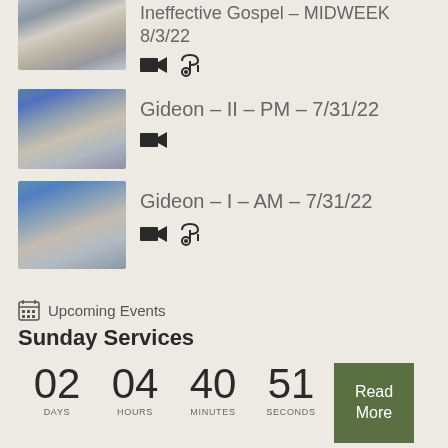[Figure (photo): Thumbnail of hands on open Bible book]
Ineffective Gospel - MIDWEEK 8/3/22
[Figure (photo): Thumbnail of hands on open Bible book]
Gideon – II – PM – 7/31/22
[Figure (photo): Thumbnail of hands on open Bible book]
Gideon – I – AM – 7/31/22
Upcoming Events
Sunday Services
02 DAYS  04 HOURS  40 MINUTES  51 SECONDS
Read More
View All Events →